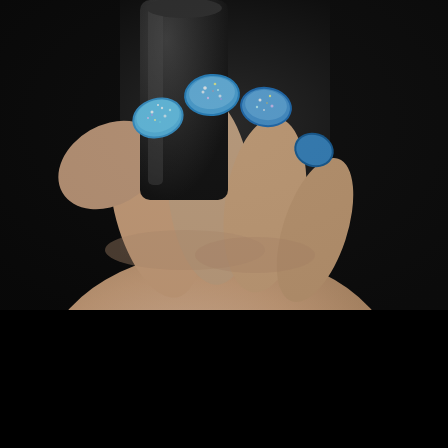[Figure (photo): Close-up photograph of a hand holding a dark nail polish bottle, with fingernails painted in a sparkling teal/blue glitter nail polish with holographic shimmer.]
REVIEW: NICOLE BY OPI A MILLION SPARKLES IS ACCURATELY NAMED
April 12, 2012